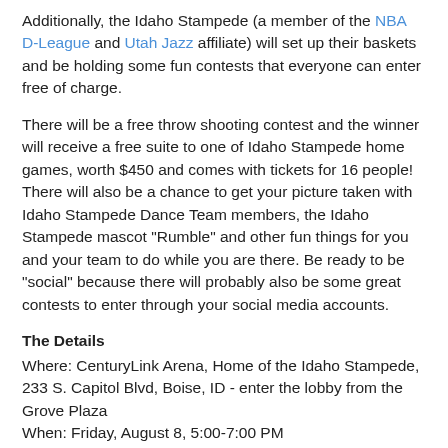Additionally, the Idaho Stampede (a member of the NBA D-League and Utah Jazz affiliate) will set up their baskets and be holding some fun contests that everyone can enter free of charge.
There will be a free throw shooting contest and the winner will receive a free suite to one of Idaho Stampede home games, worth $450 and comes with tickets for 16 people! There will also be a chance to get your picture taken with Idaho Stampede Dance Team members, the Idaho Stampede mascot "Rumble" and other fun things for you and your team to do while you are there. Be ready to be "social" because there will probably also be some great contests to enter through your social media accounts.
The Details
Where: CenturyLink Arena, Home of the Idaho Stampede, 233 S. Capitol Blvd, Boise, ID - enter the lobby from the Grove Plaza
When: Friday, August 8, 5:00-7:00 PM
Why: Because checking your team in should also be a lot of fun